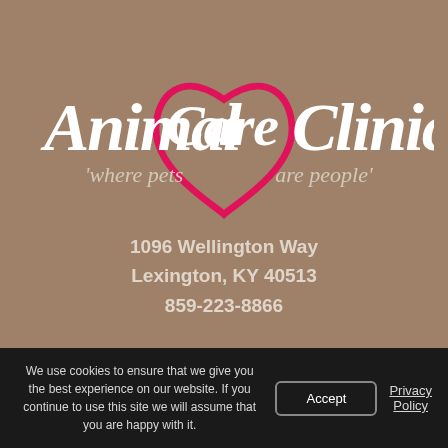[Figure (logo): Animal Care Clinic logo with stylized script text 'Animal Care Clinic' in white with tagline 'where pets are people' and a pink/red heart outline graphic in the center]
1096 Wellington Way
Lexington, KY 40513
859-223-8866
We use cookies to ensure that we give you the best experience on our website. If you continue to use this site we will assume that you are happy with it.
Accept
Privacy Policy